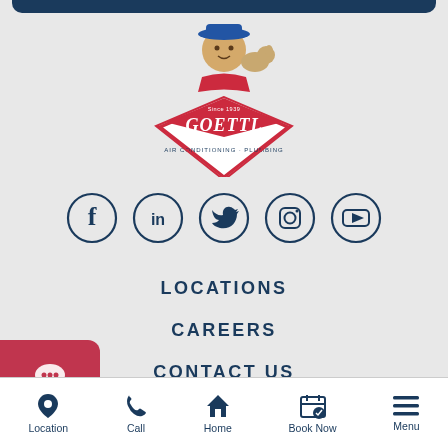[Figure (logo): Goettl Air Conditioning & Plumbing logo with mascot character]
[Figure (infographic): Social media icons row: Facebook, LinkedIn, Twitter, Instagram, YouTube — all in dark navy circular outlines]
LOCATIONS
CAREERS
CONTACT US
[Figure (infographic): Red Chat button on left side]
Location  Call  Home  Book Now  Menu